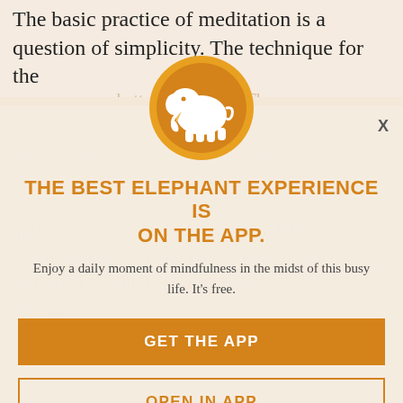The basic practice of meditation is a question of simplicity. The technique for the practice of meditation that was prescribed by the Buddha is working with the awareness of breath. That leads us through the unnecessary chatter of thought. The subconscious duplicitousness just be with your body. Sit down and don't try to think of anything else. Just sit and be with your breath. Let breath be your change.
[Figure (logo): Elephant Journal app logo: white elephant silhouette on an orange circle with gold outer ring]
THE BEST ELEPHANT EXPERIENCE IS ON THE APP.
Enjoy a daily moment of mindfulness in the midst of this busy life. It's free.
GET THE APP
OPEN IN APP